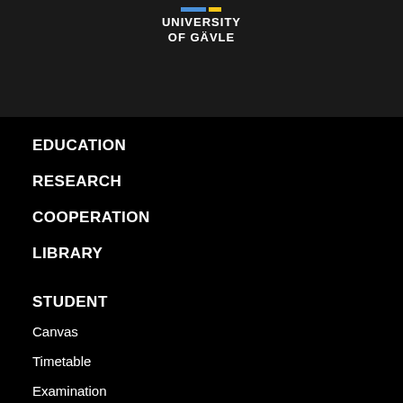[Figure (logo): University of Gävle logo with colored bars and white text]
EDUCATION
RESEARCH
COOPERATION
LIBRARY
STUDENT
Canvas
Timetable
Examination
Courses and Programmes